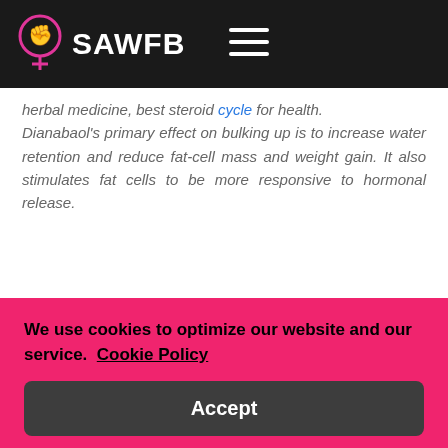SAWFB
herbal medicine, best steroid cycle for health. Dianabaol's primary effect on bulking up is to increase water retention and reduce fat-cell mass and weight gain. It also stimulates fat cells to be more responsive to hormonal release.
We use cookies to optimize our website and our service. Cookie Policy
Accept
It can also stimulate blood circulation and enhance the